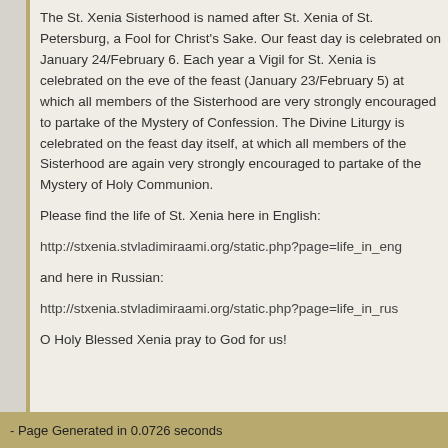The St. Xenia Sisterhood is named after St. Xenia of St. Petersburg, a Fool for Christ's Sake. Our feast day is celebrated on January 24/February 6. Each year a Vigil for St. Xenia is celebrated on the eve of the feast (January 23/February 5) at which all members of the Sisterhood are very strongly encouraged to partake of the Mystery of Confession. The Divine Liturgy is celebrated on the feast day itself, at which all members of the Sisterhood are again very strongly encouraged to partake of the Mystery of Holy Communion.
Please find the life of St. Xenia here in English:
http://stxenia.stvladimiraami.org/static.php?page=life_in_eng
and here in Russian:
http://stxenia.stvladimiraami.org/static.php?page=life_in_rus
O Holy Blessed Xenia pray to God for us!
- Page Generated in 0.0726 seconds